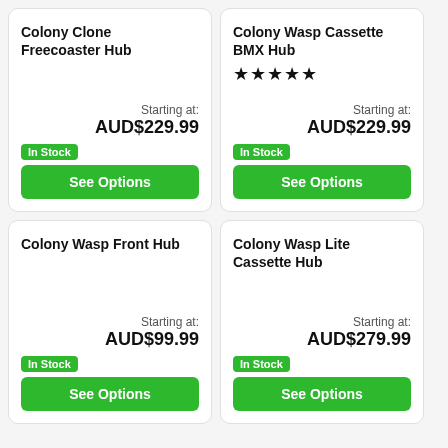Colony Clone Freecoaster Hub
Starting at: AUD$229.99
In Stock
See Options
Colony Wasp Cassette BMX Hub
★★★★★
Starting at: AUD$229.99
In Stock
See Options
Colony Wasp Front Hub
Starting at: AUD$99.99
In Stock
See Options
Colony Wasp Lite Cassette Hub
Starting at: AUD$279.99
In Stock
See Options